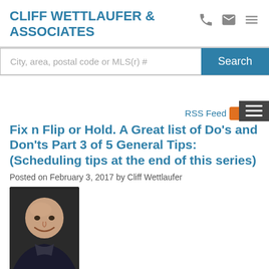CLIFF WETTLAUFER & ASSOCIATES
City, area, postal code or MLS(r) #
RSS Feed
Fix n Flip or Hold. A Great list of Do's and Don'ts Part 3 of 5 General Tips: (Scheduling tips at the end of this series)
Posted on February 3, 2017 by Cliff Wettlaufer
[Figure (photo): Headshot photo of Cliff Wettlaufer, a bald man smiling, wearing a dark jacket]
[Figure (illustration): Social media share buttons: Twitter (blue bird icon) and Facebook (blue f icon)]
[Figure (photo): Partial bottom image showing what appears to be a property or construction related image in green and brown tones]